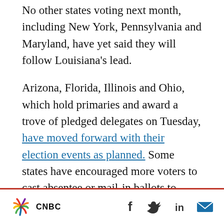No other states voting next month, including New York, Pennsylvania and Maryland, have yet said they will follow Louisiana's lead.
Arizona, Florida, Illinois and Ohio, which hold primaries and award a trove of pledged delegates on Tuesday, have moved forward with their election events as planned. Some states have encouraged more voters to cast absentee or mail-in ballots to reduce the risk of the virus spreading.
In a joint statement Friday, the top elections officials in the four states voting Tuesday said, “we are working closely with our state health
[Figure (logo): CNBC logo with peacock multicolor symbol and CNBC text below]
[Figure (infographic): Social media sharing icons: Facebook, Twitter, LinkedIn, Email]